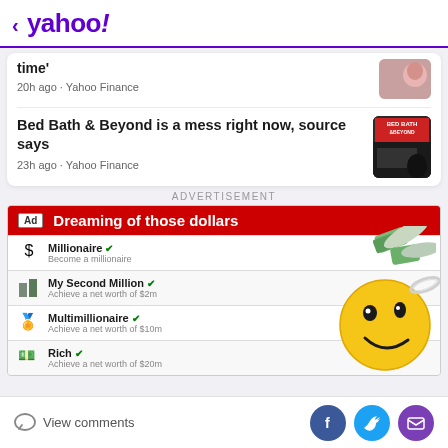< yahoo!
time'
20h ago · Yahoo Finance
Bed Bath & Beyond is a mess right now, source says
23h ago · Yahoo Finance
ADVERTISEMENT
[Figure (infographic): Advertisement banner: 'Dreaming of those dollars' with financial goal rows: Millionaire, My Second Million, Multimillionaire, Rich — with emoji overlay]
View comments